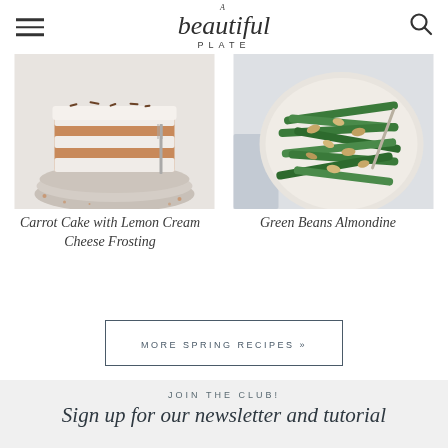A Beautiful Plate
[Figure (photo): A slice of layered carrot cake with white cream cheese frosting on a plate, with a fork, on a light background with nuts scattered around]
Carrot Cake with Lemon Cream Cheese Frosting
[Figure (photo): A bowl of green beans almondine with toasted almond pieces on top, in a ceramic dish with a fork, on a light grey surface with a cloth napkin]
Green Beans Almondine
MORE SPRING RECIPES »
JOIN THE CLUB!
Sign up for our newsletter and tutorial...